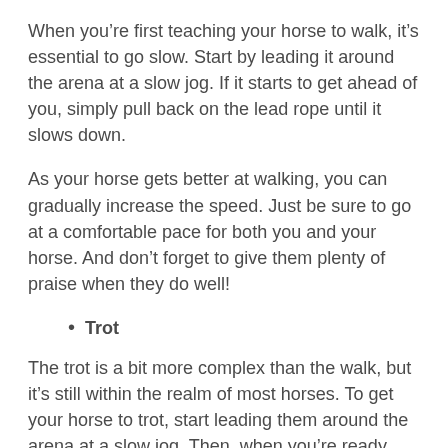When you’re first teaching your horse to walk, it’s essential to go slow. Start by leading it around the arena at a slow jog. If it starts to get ahead of you, simply pull back on the lead rope until it slows down.
As your horse gets better at walking, you can gradually increase the speed. Just be sure to go at a comfortable pace for both you and your horse. And don’t forget to give them plenty of praise when they do well!
Trot
The trot is a bit more complex than the walk, but it’s still within the realm of most horses. To get your horse to trot, start leading them around the arena at a slow jog. Then, when you’re ready, give the lead rope a little tug and say, “trot.”
Your horse should respond by increasing its speed. If they don’t, simply give the lead rope another tug and